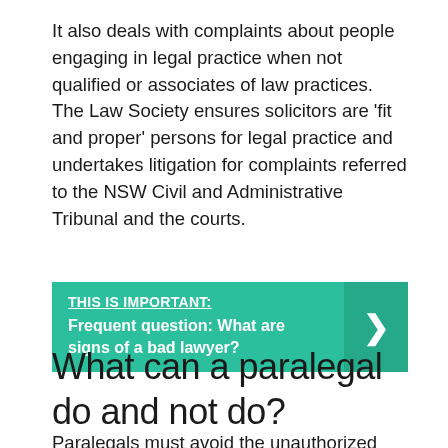It also deals with complaints about people engaging in legal practice when not qualified or associates of law practices. The Law Society ensures solicitors are 'fit and proper' persons for legal practice and undertakes litigation for complaints referred to the NSW Civil and Administrative Tribunal and the courts.
THIS IS IMPORTANT: Frequent question: What are signs of a bad lawyer?
What can a paralegal do and not do?
Paralegals must avoid the unauthorized